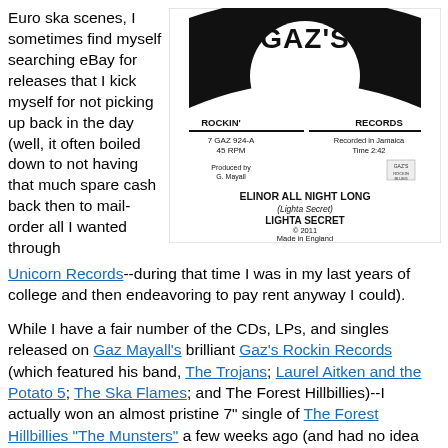Euro ska scenes, I sometimes find myself searching eBay for releases that I kick myself for not picking up back in the day (well, it often boiled down to not having that much spare cash back then to mail-order all I wanted through Unicorn Records--during that time I was in my last years of college and then endeavoring to pay rent anyway I could).
[Figure (photo): Record label for 'Elinor All Night Long' by Lighta Secret on Gaz's Rockin Records. Label shows: 7 GAZ 924-A, 45 RPM, Recorded in Jamaica, Time 2:42, Produced by G. Mayall. Song title: ELINOR ALL NIGHT LONG (Lighta Secret), Artist: LIGHTA SECRET, © 2011, Made in England.]
While I have a fair number of the CDs, LPs, and singles released on Gaz Mayall's brilliant Gaz's Rockin Records (which featured his band, The Trojans; Laurel Aitken and the Potato 5; The Ska Flames; and The Forest Hillbillies)--I actually won an almost pristine 7" single of The Forest Hillbillies "The Munsters" a few weeks ago (and had no idea that it even existed in this format)--every now and then I'll